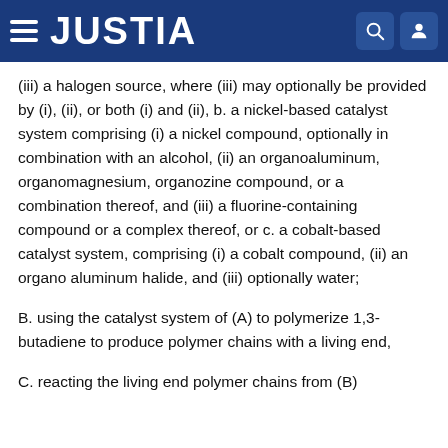JUSTIA
(iii) a halogen source, where (iii) may optionally be provided by (i), (ii), or both (i) and (ii), b. a nickel-based catalyst system comprising (i) a nickel compound, optionally in combination with an alcohol, (ii) an organoaluminum, organomagnesium, organozine compound, or a combination thereof, and (iii) a fluorine-containing compound or a complex thereof, or c. a cobalt-based catalyst system, comprising (i) a cobalt compound, (ii) an organo aluminum halide, and (iii) optionally water;
B. using the catalyst system of (A) to polymerize 1,3-butadiene to produce polymer chains with a living end,
C. reacting the living end polymer chains from (B)